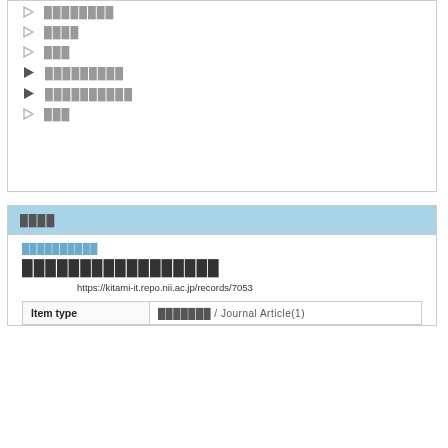▷ ████████
▷ ████
▷ ███
▶ █████████
▶ ██████████
▷ ███
████
██████████
█████████████████
https://kitami-it.repo.nii.ac.jp/records/7053
| Item type |  |
| --- | --- |
| Item type | ███████ / Journal Article(1) |